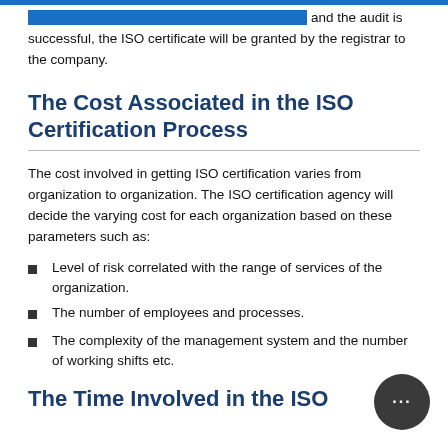When all of the non-conformity gets addressed and the audit is successful, the ISO certificate will be granted by the registrar to the company.
The Cost Associated in the ISO Certification Process
The cost involved in getting ISO certification varies from organization to organization. The ISO certification agency will decide the varying cost for each organization based on these parameters such as:
Level of risk correlated with the range of services of the organization.
The number of employees and processes.
The complexity of the management system and the number of working shifts etc.
The Time Involved in the ISO